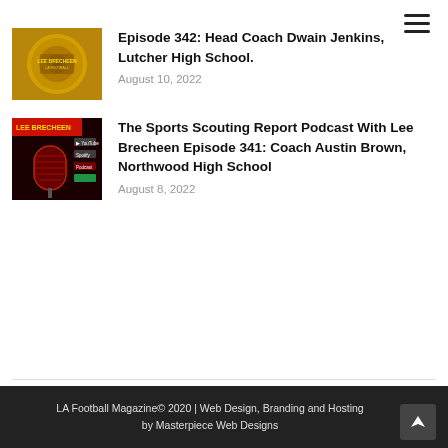[Figure (other): Hamburger menu icon (three horizontal lines) in top right corner]
[Figure (photo): Thumbnail image of a gold vinyl record]
Episode 342: Head Coach Dwain Jenkins, Lutcher High School.
August 10, 2022
[Figure (photo): Thumbnail image of Lee Brecheen podcast cover with red microphone on dark background]
The Sports Scouting Report Podcast With Lee Brecheen Episode 341: Coach Austin Brown, Northwood High School
August 8, 2022
LA Football Magazine© 2020 | Web Design, Branding and Hosting by Masterpiece Web Designs